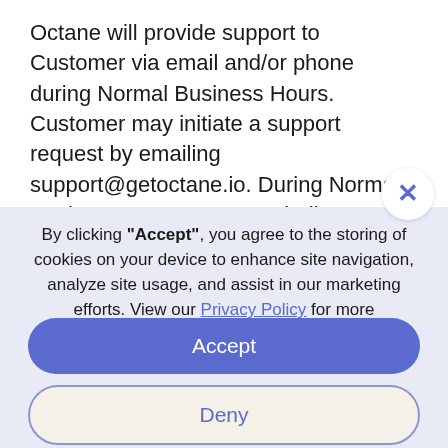Octane will provide support to Customer via email and/or phone during Normal Business Hours. Customer may initiate a support request by emailing support@getoctane.io. During Normal Business Hours, Octane shall use commercially reasonable efforts to respond t
By clicking "Accept", you agree to the storing of cookies on your device to enhance site navigation, analyze site usage, and assist in our marketing efforts. View our Privacy Policy for more information.
Accept
Deny
Preferences